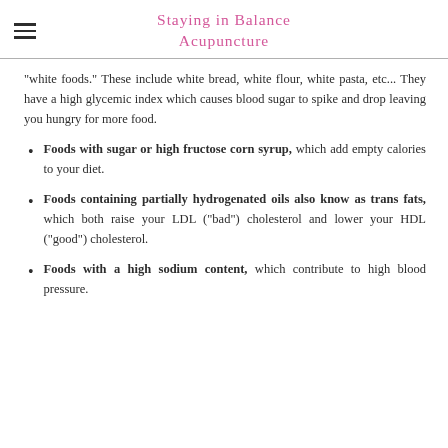Staying in Balance Acupuncture
"white foods." These include white bread, white flour, white pasta, etc... They have a high glycemic index which causes blood sugar to spike and drop leaving you hungry for more food.
Foods with sugar or high fructose corn syrup, which add empty calories to your diet.
Foods containing partially hydrogenated oils also know as trans fats, which both raise your LDL ("bad") cholesterol and lower your HDL ("good") cholesterol.
Foods with a high sodium content, which contribute to high blood pressure.